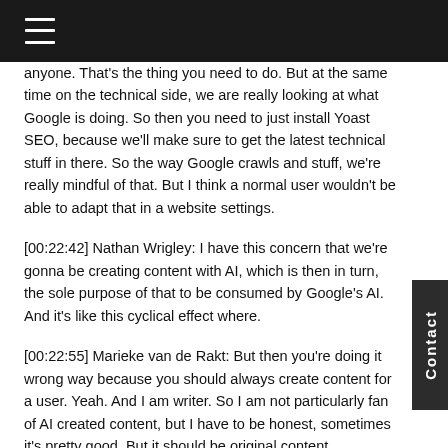anyone. That’s the thing you need to do. But at the same time on the technical side, we are really looking at what Google is doing. So then you need to just install Yoast SEO, because we’ll make sure to get the latest technical stuff in there. So the way Google crawls and stuff, we’re really mindful of that. But I think a normal user wouldn’t be able to adapt that in a website settings.
[00:22:42] Nathan Wrigley: I have this concern that we’re gonna be creating content with AI, which is then in turn, the sole purpose of that to be consumed by Google’s AI. And it’s like this cyclical effect where.
[00:22:55] Marieke van de Rakt: But then you’re doing it wrong way because you should always create content for a user. Yeah. And I am writer. So I am not particularly fan of AI created content, but I have to be honest, sometimes it’s pretty good. But it should be original content.
So, you should at least insert enough information in your AI that it’s an original thought, because an artificial intelligence can never come up with something new. It’s always something that’s already out there. So